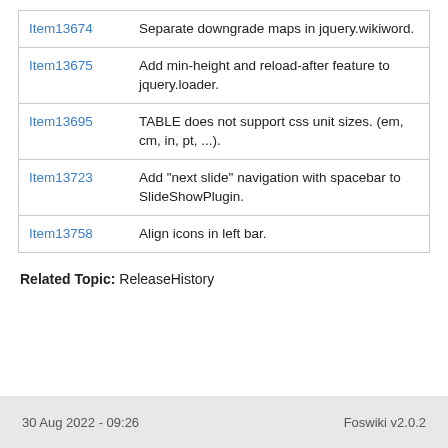| Item | Description |
| --- | --- |
| Item13674 | Separate downgrade maps in jquery.wikiword. |
| Item13675 | Add min-height and reload-after feature to jquery.loader. |
| Item13695 | TABLE does not support css unit sizes. (em, cm, in, pt, ...). |
| Item13723 | Add "next slide" navigation with spacebar to SlideShowPlugin. |
| Item13758 | Align icons in left bar. |
Related Topic: ReleaseHistory
30 Aug 2022 - 09:26    Foswiki v2.0.2